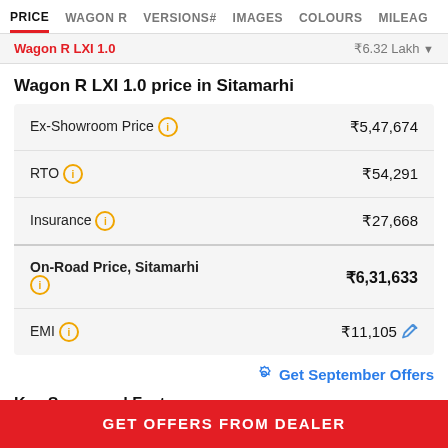PRICE  WAGON R  VERSIONS#  IMAGES  COLOURS  MILEAG
Wagon R LXI 1.0  ₹6.32 Lakh
Wagon R LXI 1.0 price in Sitamarhi
| Item | Price |
| --- | --- |
| Ex-Showroom Price | ₹5,47,674 |
| RTO | ₹54,291 |
| Insurance | ₹27,668 |
| On-Road Price, Sitamarhi | ₹6,31,633 |
| EMI | ₹11,105 |
Get September Offers
Key Specs and Feature
GET OFFERS FROM DEALER